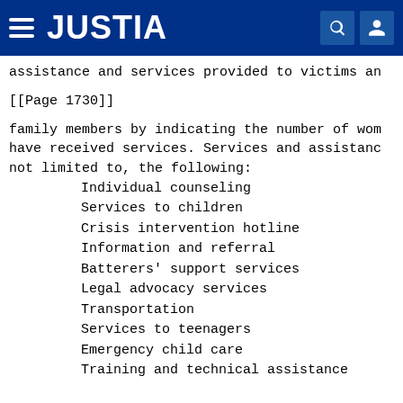JUSTIA
assistance and services provided to victims an
[[Page 1730]]
family members by indicating the number of wom have received services. Services and assistanc not limited to, the following:
Individual counseling
Services to children
Crisis intervention hotline
Information and referral
Batterers' support services
Legal advocacy services
Transportation
Services to teenagers
Emergency child care
Training and technical assistance